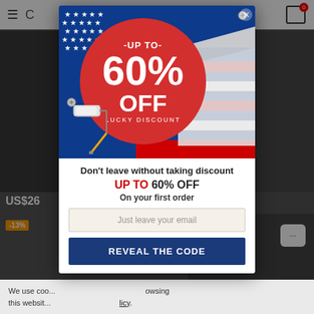[Figure (screenshot): E-commerce website background showing navigation bar, product thumbnails, price tag US$26, discount badge -13%, and cookie consent bar]
[Figure (infographic): Promotional popup modal with American flag background, red circle showing 'UP TO 60% OFF LUCKY DISCOUNT', paint roller illustration, and bottom section with email capture form and 'REVEAL THE CODE' button]
Don't leave without taking discount
UP TO 60% OFF
On your first order
Just leave your email
REVEAL THE CODE
We use coo... browsing this websit... licy.